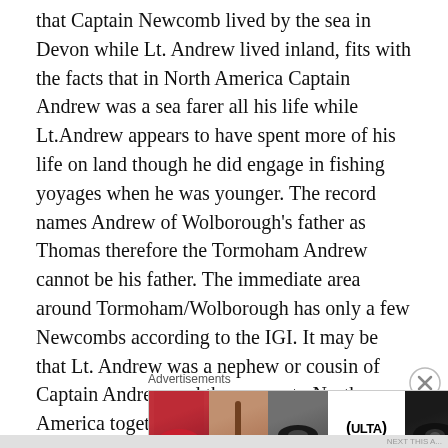that Captain Newcomb lived by the sea in Devon while Lt. Andrew lived inland, fits with the facts that in North America Captain Andrew was a sea farer all his life while Lt.Andrew appears to have spent more of his life on land though he did engage in fishing yoyages when he was younger. The record names Andrew of Wolborough's father as Thomas therefore the Tormoham Andrew cannot be his father. The immediate area around Tormoham/Wolborough has only a few Newcombs according to the IGI. It may be that Lt. Andrew was a nephew or cousin of Captain Andrew and they came to North America together or separately.

But maybe the name is so common that other Andrews
[Figure (other): Advertisement banner showing beauty/cosmetics products with ULTA Beauty branding and SHOP NOW call to action. Preceded by 'Advertisements' label and a close (X) button.]